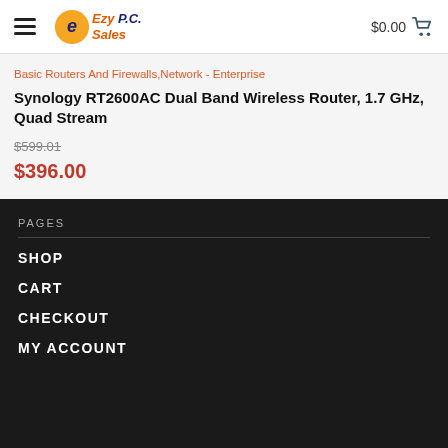Ezy P.C. Sales — $0.00
Basic Routers And Firewalls,Network - Enterprise
Synology RT2600AC Dual Band Wireless Router, 1.7 GHz, Quad Stream
$599.01
$396.00
PAGES
SHOP
CART
CHECKOUT
MY ACCOUNT